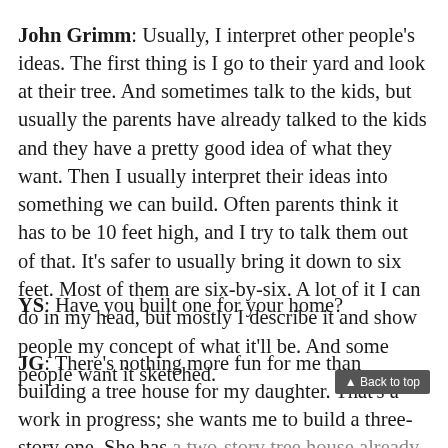John Grimm: Usually, I interpret other people's ideas. The first thing is I go to their yard and look at their tree. And sometimes talk to the kids, but usually the parents have already talked to the kids and they have a pretty good idea of what they want. Then I usually interpret their ideas into something we can build. Often parents think it has to be 10 feet high, and I try to talk them out of that. It's safer to usually bring it down to six feet. Most of them are six-by-six. A lot of it I can do in my head, but mostly I describe it and show people my concept of what it'll be. And some people want it sketched.
YS: Have you built one for your home?
JG: There's nothing more fun for me than building a tree house for my daughter. That's a work in progress; she wants me to build a three-story one. She has a two-story tree house already, so she wants a third story. To get us…